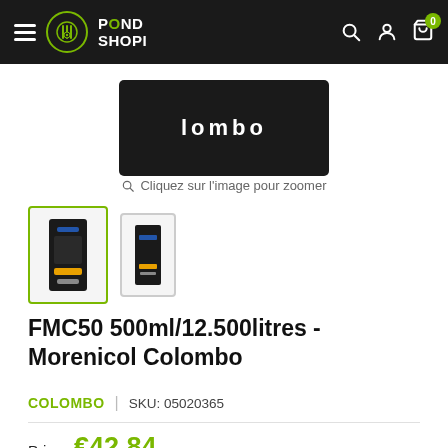POND SHOPI — navigation bar with hamburger menu, logo, search, account, cart (0)
[Figure (photo): Product image of FMC50 500ml Morenicol Colombo bottle, dark background, partially cropped, showing 'Colombo' text]
Cliquez sur l'image pour zoomer
[Figure (photo): Thumbnail 1 (selected, green border): FMC50 Morenicol Colombo product bottle]
[Figure (photo): Thumbnail 2: FMC50 Morenicol Colombo product bottle, alternate view]
FMC50 500ml/12.500litres - Morenicol Colombo
COLOMBO | SKU: 05020365
Prix: €42.84